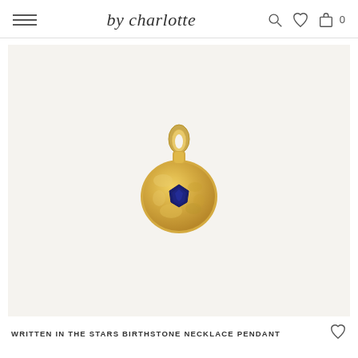by charlotte
[Figure (photo): Gold pendant necklace charm with a circular textured disc shape and a dark blue/navy gemstone set in the center, photographed on a light beige background]
WRITTEN IN THE STARS BIRTHSTONE NECKLACE PENDANT